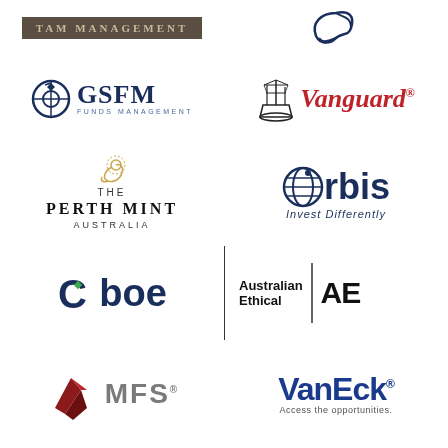[Figure (logo): PAM/TAMM Management logo - dark brown/taupe box with serif text]
[Figure (logo): Silk Road or decorative cursive swirl logo in dark navy blue]
[Figure (logo): GSFM Funds Management logo with compass icon in navy blue]
[Figure (logo): Vanguard logo with tall ship icon and red italic text]
[Figure (logo): The Perth Mint Australia logo with gold swan icon]
[Figure (logo): Orbis Invest Differently logo with globe icon in navy blue]
[Figure (logo): Cboe logo in navy blue bold text with green diamond]
[Figure (logo): Australian Ethical AE logo with vertical divider]
[Figure (logo): MFS logo with red angular chevron icon]
[Figure (logo): VanEck logo in bold navy blue with tagline Access the opportunities.]